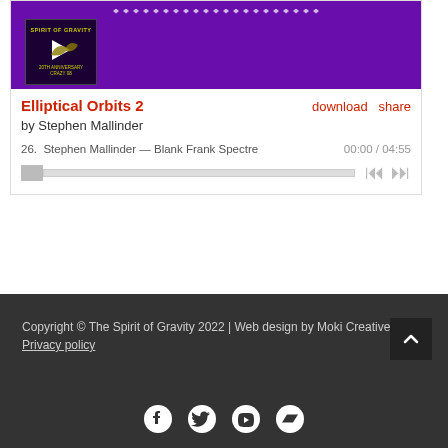[Figure (screenshot): Music player card with purple banner showing Spirit of Gravity album art thumbnail with play button, track title 'Elliptical Orbits 2' by Stephen Mallinder, track listing item 26 'Stephen Mallinder — Blank Frank Spectre', timestamp 00:00 / 04:55, progress bar, and playback controls]
Copyright © The Spirit of Gravity 2022 | Web design by Moki Creative
Privacy policy